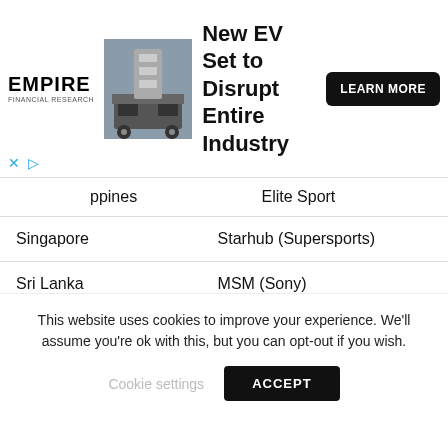[Figure (screenshot): Empire Financial Research advertisement banner for 'New EV Set to Disrupt Entire Industry' with a truck image and 'LEARN MORE' button]
| Country | Broadcaster |
| --- | --- |
| ppines (partial) | Elite Sport (partial) |
| Singapore | Starhub (Supersports) |
| Sri Lanka | MSM (Sony) |
| Taiwan | Sino Catch (Sportcast) |
| Thailand | Cineplex (Truevisions) |
| Vietnam | Canal+ Overseas |
This website uses cookies to improve your experience. We'll assume you're ok with this, but you can opt-out if you wish.
Cookie settings   ACCEPT